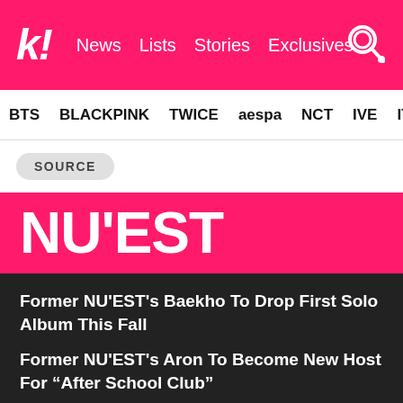k! News  Lists  Stories  Exclusives
BTS  BLACKPINK  TWICE  aespa  NCT  IVE  ITZY
SOURCE
NU'EST
Former NU'EST's Baekho To Drop First Solo Album This Fall
Former NU'EST's Aron To Become New Host For “After School Club”
LE SSERAFIM Praised For Their Thoughtful Actions Towards HYBE Seniors TXT, fromis_9, NU'EST, And Lee Hyun
NU'EST’s Baekho To Hold Solo Fan Meeting For His Birthday